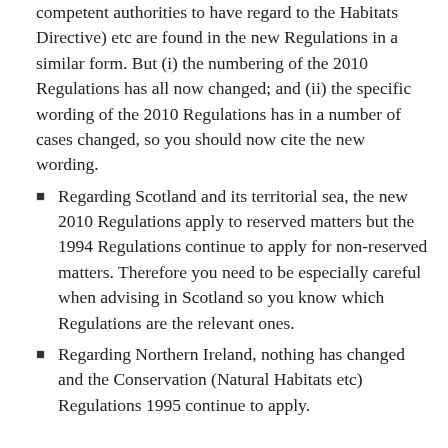competent authorities to have regard to the Habitats Directive) etc are found in the new Regulations in a similar form. But (i) the numbering of the 2010 Regulations has all now changed; and (ii) the specific wording of the 2010 Regulations has in a number of cases changed, so you should now cite the new wording.
Regarding Scotland and its territorial sea, the new 2010 Regulations apply to reserved matters but the 1994 Regulations continue to apply for non-reserved matters. Therefore you need to be especially careful when advising in Scotland so you know which Regulations are the relevant ones.
Regarding Northern Ireland, nothing has changed and the Conservation (Natural Habitats etc) Regulations 1995 continue to apply.